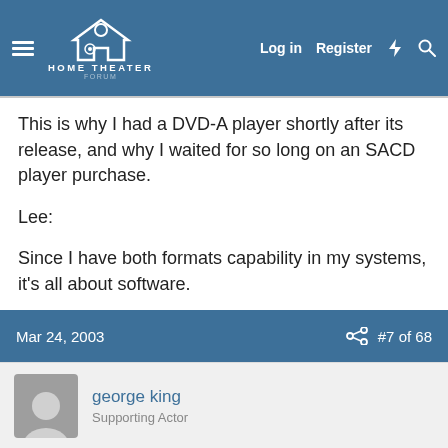HOME THEATER FORUM — Log in | Register
This is why I had a DVD-A player shortly after its release, and why I waited for so long on an SACD player purchase.
Lee:
Since I have both formats capability in my systems, it's all about software.
What do I want to see? More titles. Day and date releases of new titles on formats.
Regards,
Mar 24, 2003   #7 of 68
george king
Supporting Actor